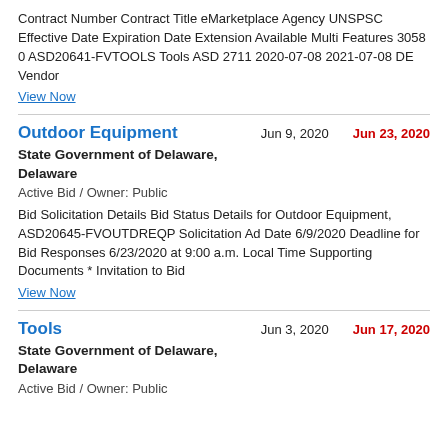Contract Number Contract Title eMarketplace Agency UNSPSC Effective Date Expiration Date Extension Available Multi Features 3058 0 ASD20641-FVTOOLS Tools ASD 2711 2020-07-08 2021-07-08 DE Vendor
View Now
Outdoor Equipment
Jun 9, 2020
Jun 23, 2020
State Government of Delaware, Delaware
Active Bid / Owner: Public
Bid Solicitation Details Bid Status Details for Outdoor Equipment, ASD20645-FVOUTDREQP Solicitation Ad Date 6/9/2020 Deadline for Bid Responses 6/23/2020 at 9:00 a.m. Local Time Supporting Documents * Invitation to Bid
View Now
Tools
Jun 3, 2020
Jun 17, 2020
State Government of Delaware, Delaware
Active Bid / Owner: Public